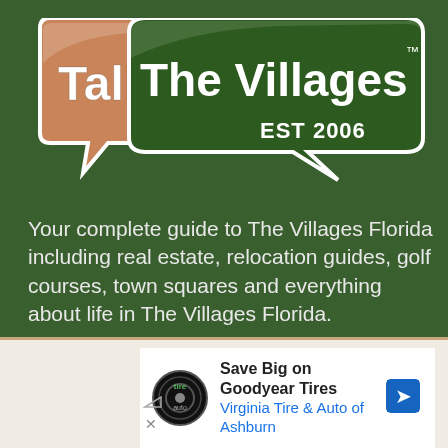[Figure (logo): Talk of The Villages logo with two speech bubbles — a tan/salmon bubble on the left with 'Talk of' text, and a dark green bubble on the right with 'The Villages' and 'EST 2006' text]
Your complete guide to The Villages Florida including real estate, relocation guides, golf courses, town squares and everything about life in The Villages Florida.
[Figure (other): Advertisement banner: Save Big on Goodyear Tires — Virginia Tire & Auto of Ashburn, with tire auto logo and blue navigation arrow icon]